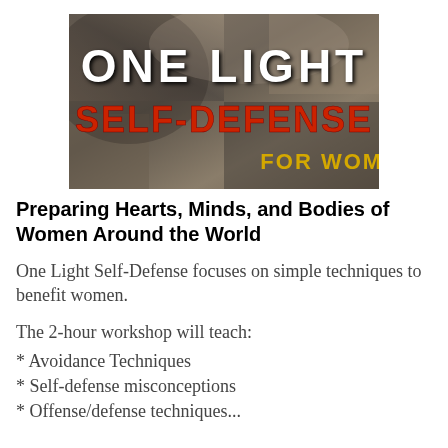[Figure (logo): One Light Self-Defense for Women logo — stone/concrete textured background with white bold text 'ONE LIGHT' at top, red bold text 'SELF-DEFENSE' in middle, and gold/yellow text 'FOR WOMEN' at bottom right]
Preparing Hearts, Minds, and Bodies of Women Around the World
One Light Self-Defense focuses on simple techniques to benefit women.
The 2-hour workshop will teach:
* Avoidance Techniques
* Self-defense misconceptions
* Offense/defense techniques (partial, cut off)